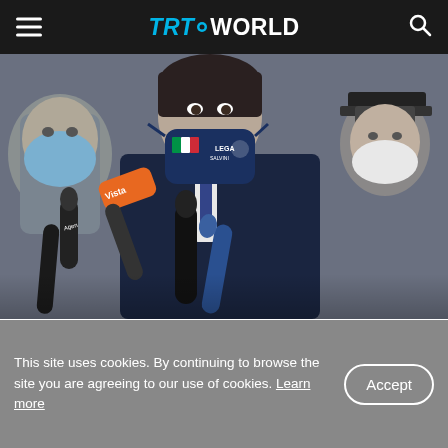TRT WORLD
[Figure (photo): Head of the Lega Nord (Northern League) party and senator Matteo Salvini (C) wearing a face mask with Italian flag and Lega logo, speaking into microphones at a press conference, with other masked individuals around him, following a meeting with Mario Draghi on February 6, 2021 in Rome.]
Head of the Lega Nord (Northern League) party and senator Matteo Salvini (C) addresses the media, following a meeting with Mario Draghi on February 6, 2021 in Rome. (AFP)
This site uses cookies. By continuing to browse the site you are agreeing to our use of cookies. Learn more